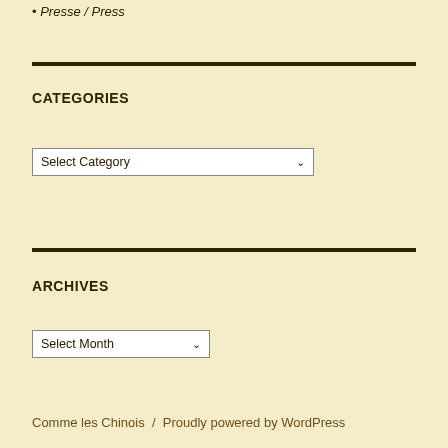Presse / Press
CATEGORIES
[Figure (other): Select Category dropdown widget]
ARCHIVES
[Figure (other): Select Month dropdown widget]
Comme les Chinois / Proudly powered by WordPress